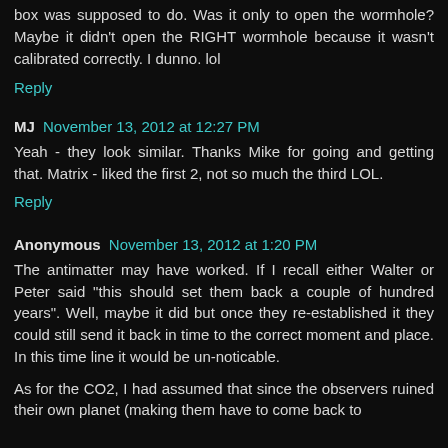box was supposed to do. Was it only to open the wormhole? Maybe it didn't open the RIGHT wormhole because it wasn't calibrated correctly. I dunno. lol
Reply
MJ November 13, 2012 at 12:27 PM
Yeah - they look similar. Thanks Mike for going and getting that. Matrix - liked the first 2, not so much the third LOL.
Reply
Anonymous November 13, 2012 at 1:20 PM
The antimatter may have worked. If I recall either Walter or Peter said "this should set them back a couple of hundred years". Well, maybe it did but once they re-established it they could still send it back in time to the correct moment and place. In this time line it would be un-noticable.
As for the CO2, I had assumed that since the observers ruined their own planet (making them have to come back to